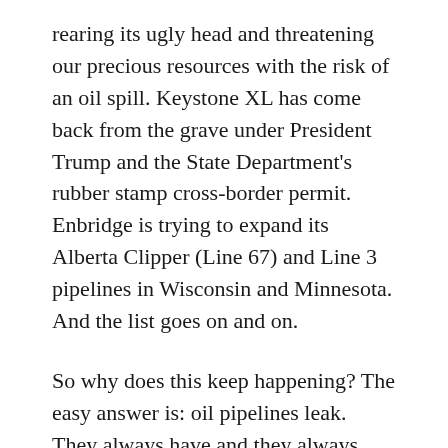rearing its ugly head and threatening our precious resources with the risk of an oil spill. Keystone XL has come back from the grave under President Trump and the State Department's rubber stamp cross-border permit. Enbridge is trying to expand its Alberta Clipper (Line 67) and Line 3 pipelines in Wisconsin and Minnesota. And the list goes on and on.
So why does this keep happening? The easy answer is: oil pipelines leak. They always have and they always will. They are complex projects that span thousands of miles and are held together by welds that commonly fail. They use materials sourced from manufacturers around